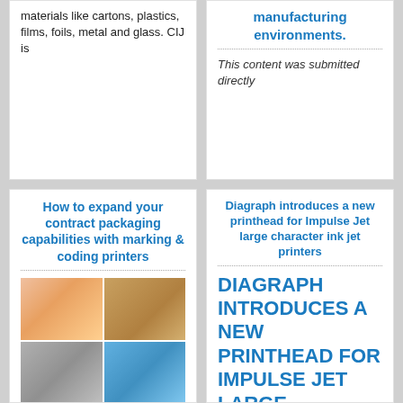materials like cartons, plastics, films, foils, metal and glass. CIJ is
manufacturing environments.
This content was submitted directly
How to expand your contract packaging capabilities with marking & coding printers
[Figure (photo): Photo collage of packaging examples: labeled bottles, cardboard boxes, metal cans, and blue plastic containers with printed codes]
When it comes to contract packaging, companies are increasingly looking to
Diagraph introduces a new printhead for Impulse Jet large character ink jet printers
DIAGRAPH INTRODUCES A NEW PRINTHEAD FOR IMPULSE JET LARGE CHARACTER INK JET PRINTERS